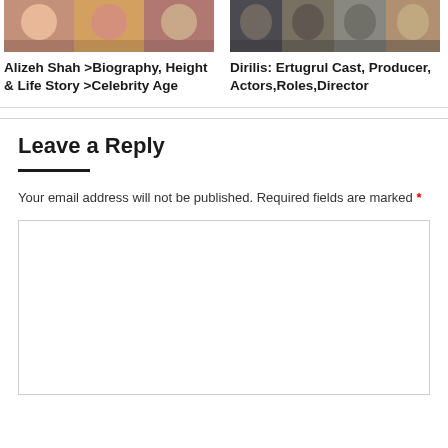[Figure (photo): Photo collage of Alizeh Shah with multiple portraits]
[Figure (photo): Photo collage of Dirilis Ertugrul cast members in costume]
Alizeh Shah >Biography, Height & Life Story >Celebrity Age
Dirilis: Ertugrul Cast, Producer, Actors,Roles,Director
Leave a Reply
Your email address will not be published. Required fields are marked *